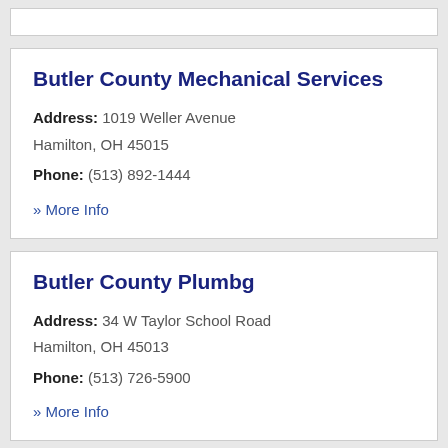Butler County Mechanical Services | Address: 1019 Weller Avenue, Hamilton, OH 45015 | Phone: (513) 892-1444 | » More Info
Butler County Plumbg | Address: 34 W Taylor School Road, Hamilton, OH 45013 | Phone: (513) 726-5900 | » More Info